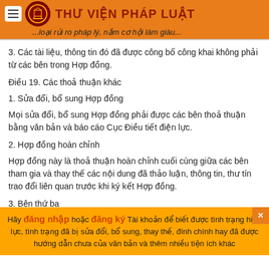THƯ VIỆN PHÁP LUẬT — ...loại rủi ro pháp lý, nắm cơ hội làm giàu...
3. Các tài liệu, thông tin đó đã được công bố công khai không phải từ các bên trong Hợp đồng.
Điều 19. Các thoả thuận khác
1. Sửa đổi, bổ sung Hợp đồng
Mọi sửa đổi, bổ sung Hợp đồng phải được các bên thoả thuận bằng văn bản và báo cáo Cục Điều tiết điện lực.
2. Hợp đồng hoàn chỉnh
Hợp đồng này là thoả thuận hoàn chỉnh cuối cùng giữa các bên tham gia và thay thế các nội dung đã thảo luận, thông tin, thư tín trao đổi liên quan trước khi ký kết Hợp đồng.
3. Bên thứ ba
Hãy đăng nhập hoặc đăng ký Tài khoản để biết được tình trạng hiệu lực, tình trạng đã bị sửa đổi, bổ sung, thay thế, đính chính hay đã được hướng dẫn chưa của văn bản và thêm nhiều tiện ích khác